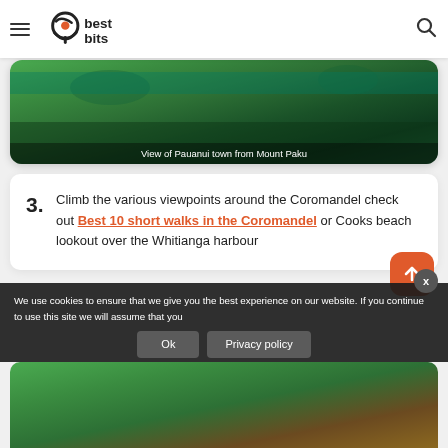best bits (navigation bar with logo, hamburger menu, and search icon)
[Figure (photo): Aerial view of Pauanui town from Mount Paku, showing green trees and water]
View of Pauanui town from Mount Paku
3. Climb the various viewpoints around the Coromandel check out Best 10 short walks in the Coromandel or Cooks beach lookout over the Whitianga harbour
[Figure (photo): Bottom hero photo showing trees and landscape]
We use cookies to ensure that we give you the best experience on our website. If you continue to use this site we will assume that you
Ok
Privacy policy